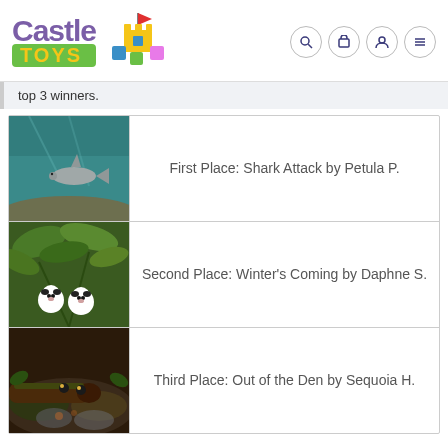[Figure (logo): Castle Toys logo with colorful toy blocks and castle icon, plus navigation icons]
top 3 winners.
| Image | Winner |
| --- | --- |
| [shark underwater photo] | First Place: Shark Attack by Petula P. |
| [pandas in jungle photo] | Second Place: Winter's Coming by Daphne S. |
| [animal in den photo] | Third Place: Out of the Den by Sequoia H. |